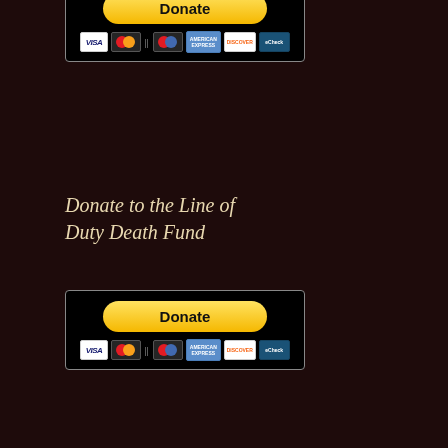[Figure (other): PayPal Donate button widget with payment card icons (cropped at top)]
Donate to the Line of Duty Death Fund
[Figure (other): PayPal Donate button widget with payment card icons for Line of Duty Death Fund]
Donate to the Band
[Figure (other): PayPal Donate button widget with payment card icons for Band donation]